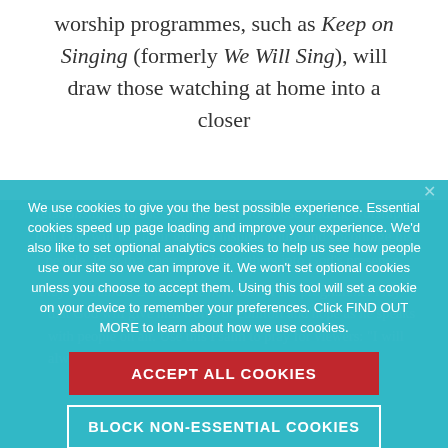worship programmes, such as Keep on Singing (formerly We Will Sing), will draw those watching at home into a closer
relationship with the Saviour. Pray for those leading worship – that God will ... presence.
We use cookies to give you the best possible experience. Essential cookies speed up page loading and improve your experience. We'd also like to set optional analytics cookies to help us see how people use our site so we can improve it. We won't set optional cookies unless you choose to accept them. Using this tool will set a cookie on your device to remember your preferences. Click FIND OUT MORE to learn about how we use cookies.
ACCEPT ALL COOKIES
BLOCK NON-ESSENTIAL COOKIES
FIND OUT MORE
Pray for Samuel E-houk, the new host of the [programme] will give him words of comfort and hope as he speaks with people on air. Use this Psalm to pray for viewers: "I will always praise you in the presence of your faithful